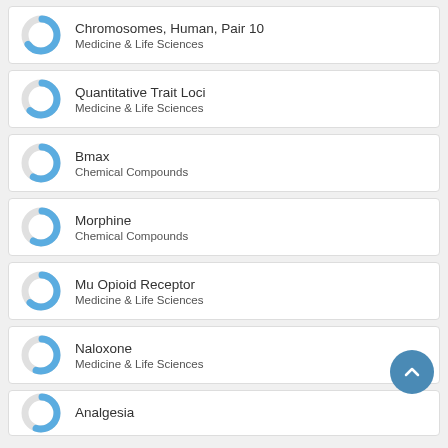Chromosomes, Human, Pair 10 — Medicine & Life Sciences
Quantitative Trait Loci — Medicine & Life Sciences
Bmax — Chemical Compounds
Morphine — Chemical Compounds
Mu Opioid Receptor — Medicine & Life Sciences
Naloxone — Medicine & Life Sciences
Analgesia